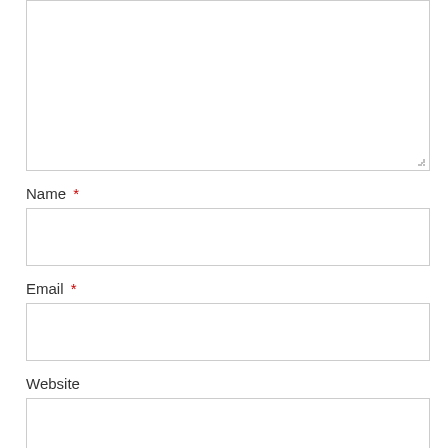[Figure (screenshot): A textarea form field (empty, resizable) at the top of the page]
Name *
[Figure (screenshot): An empty text input field for Name]
Email *
[Figure (screenshot): An empty text input field for Email]
Website
[Figure (screenshot): An empty text input field for Website]
Save my name, email, and website in this browser for the